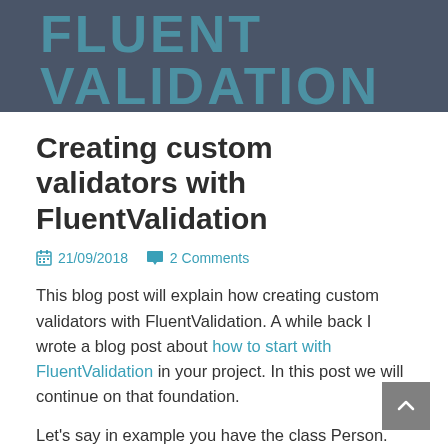FLUENT VALIDATION
Creating custom validators with FluentValidation
21/09/2018   2 Comments
This blog post will explain how creating custom validators with FluentValidation. A while back I wrote a blog post about how to start with FluentValidation in your project. In this post we will continue on that foundation.
Let's say in example you have the class Person.